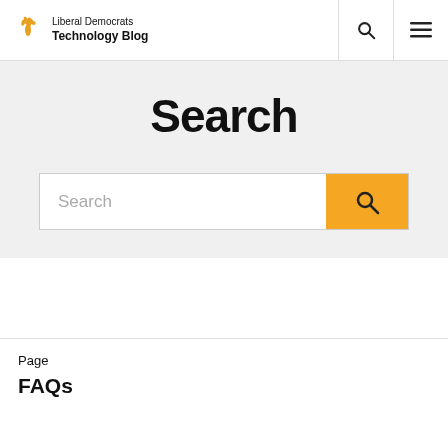Liberal Democrats Technology Blog
Search
[Figure (other): Search input bar with orange search button containing a magnifying glass icon]
Page
FAQs